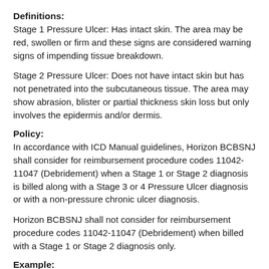Definitions:
Stage 1 Pressure Ulcer: Has intact skin. The area may be red, swollen or firm and these signs are considered warning signs of impending tissue breakdown.
Stage 2 Pressure Ulcer: Does not have intact skin but has not penetrated into the subcutaneous tissue. The area may show abrasion, blister or partial thickness skin loss but only involves the epidermis and/or dermis.
Policy:
In accordance with ICD Manual guidelines, Horizon BCBSNJ shall consider for reimbursement procedure codes 11042-11047 (Debridement) when a Stage 1 or Stage 2 diagnosis is billed along with a Stage 3 or 4 Pressure Ulcer diagnosis or with a non-pressure chronic ulcer diagnosis.
Horizon BCBSNJ shall not consider for reimbursement procedure codes 11042-11047 (Debridement) when billed with a Stage 1 or Stage 2 diagnosis only.
Example:
If 11043 (Debridement, muscle and/or fascia) is billed for a stage 3